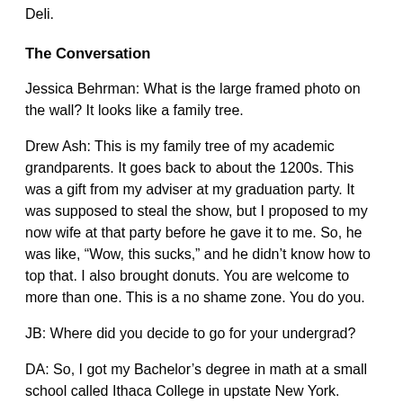Deli.
The Conversation
Jessica Behrman: What is the large framed photo on the wall? It looks like a family tree.
Drew Ash: This is my family tree of my academic grandparents. It goes back to about the 1200s. This was a gift from my adviser at my graduation party. It was supposed to steal the show, but I proposed to my now wife at that party before he gave it to me. So, he was like, “Wow, this sucks,” and he didn’t know how to top that. I also brought donuts. You are welcome to more than one. This is a no shame zone. You do you.
JB: Where did you decide to go for your undergrad?
DA: So, I got my Bachelor’s degree in math at a small school called Ithaca College in upstate New York.
JB: Did you plan on going into math when you first started